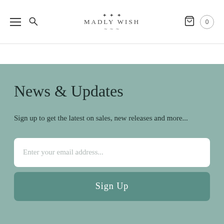MADLY WISH — navigation header with hamburger menu, search icon, logo, cart icon and 0 count
News & Updates
Sign up to get the latest on sales, new releases and more...
Enter your email address...
Sign Up